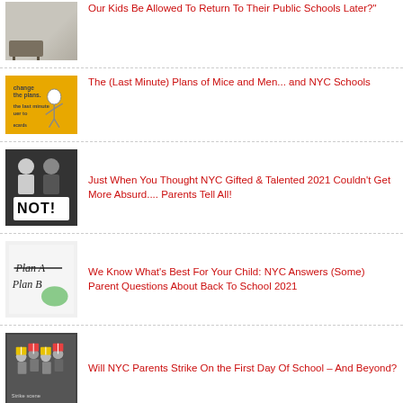Our Kids Be Allowed To Return To Their Public Schools Later?"
The (Last Minute) Plans of Mice and Men... and NYC Schools
Just When You Thought NYC Gifted & Talented 2021 Couldn't Get More Absurd.... Parents Tell All!
We Know What's Best For Your Child: NYC Answers (Some) Parent Questions About Back To School 2021
Will NYC Parents Strike On the First Day Of School – And Beyond?